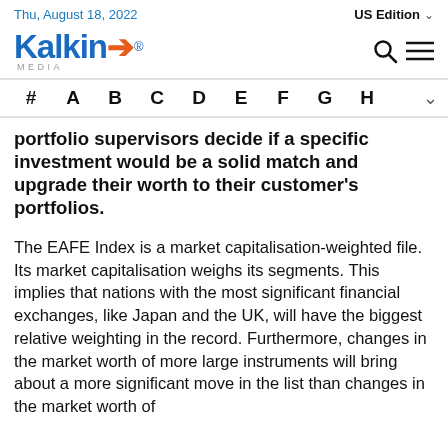Thu, August 18, 2022   US Edition
[Figure (logo): Kalkine Media logo with blue text and orange arrow/E symbol, with MEDIA subtitle]
# A B C D E F G H
portfolio supervisors decide if a specific investment would be a solid match and upgrade their worth to their customer's portfolios.
The EAFE Index is a market capitalisation-weighted file. Its market capitalisation weighs its segments. This implies that nations with the most significant financial exchanges, like Japan and the UK, will have the biggest relative weighting in the record. Furthermore, changes in the market worth of more large instruments will bring about a more significant move in the list than changes in the market worth of